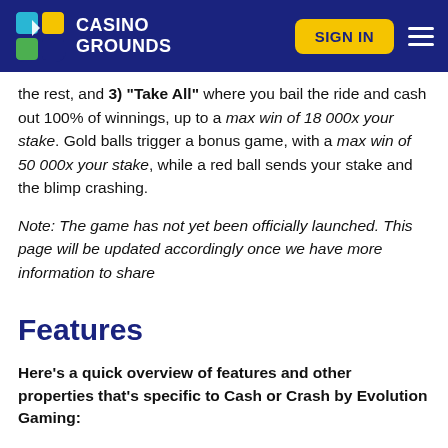CASINO GROUNDS | SIGN IN
the rest, and 3) "Take All" where you bail the ride and cash out 100% of winnings, up to a max win of 18 000x your stake. Gold balls trigger a bonus game, with a max win of 50 000x your stake, while a red ball sends your stake and the blimp crashing.
Note: The game has not yet been officially launched. This page will be updated accordingly once we have more information to share
Features
Here's a quick overview of features and other properties that's specific to Cash or Crash by Evolution Gaming: